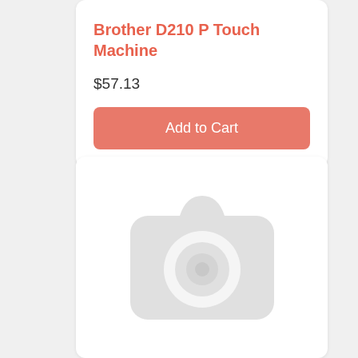Brother D210 P Touch Machine
$57.13
Add to Cart
[Figure (illustration): Placeholder image with a gray camera icon on a white rounded card background]